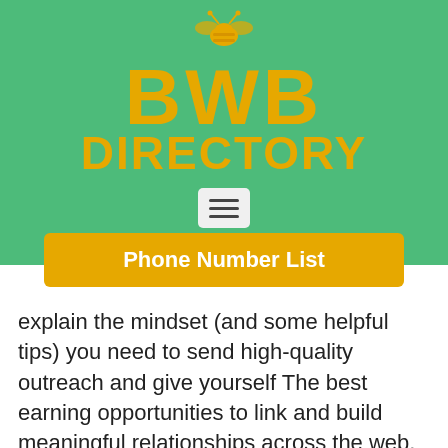[Figure (logo): BWB Directory logo with golden text on green background, featuring a bee icon above the letters BWB, and the word DIRECTORY below]
[Figure (other): Hamburger menu button (three horizontal lines) inside a light gray rounded rectangle]
Phone Number List
explain the mindset (and some helpful tips) you need to send high-quality outreach and give yourself The best earning opportunities to link and build meaningful relationships across the web. You’re emailing humans… and asking for help First and foremost, when sending out outreach, keep in mind the idea that you are